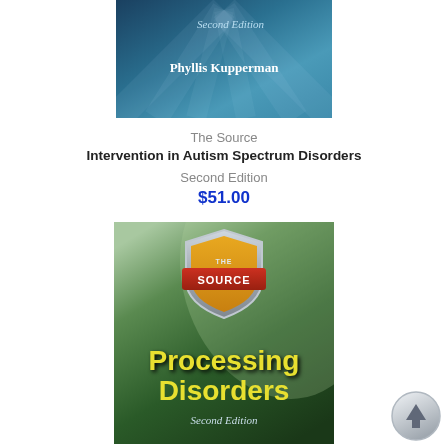[Figure (photo): Top portion of a book cover with teal/blue gradient background, showing 'Second Edition' in italic and 'Phyllis Kupperman' as author name]
The Source
Intervention in Autism Spectrum Disorders
Second Edition
$51.00
[Figure (photo): Book cover for 'The Source Processing Disorders Second Edition' with green gradient background, shield/badge logo at top, yellow bold title text 'Processing Disorders', and italic 'Second Edition' below]
[Figure (other): Circular back-to-top navigation button, gray/silver color with upward arrow]